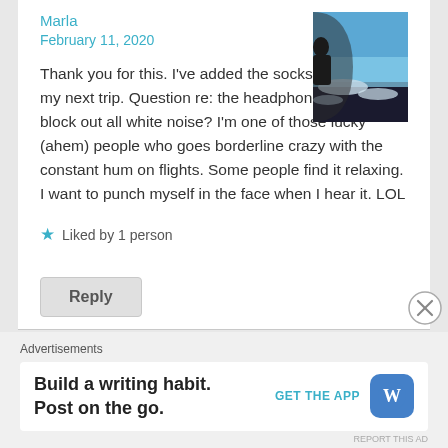Marla
February 11, 2020
[Figure (photo): View from airplane window showing sky and clouds below]
Thank you for this. I've added the socks to my list for my next trip. Question re: the headphones. Do they block out all white noise? I'm one of those lucky (ahem) people who goes borderline crazy with the constant hum on flights. Some people find it relaxing. I want to punch myself in the face when I hear it. LOL
Liked by 1 person
Reply
Advertisements
Build a writing habit. Post on the go.
GET THE APP